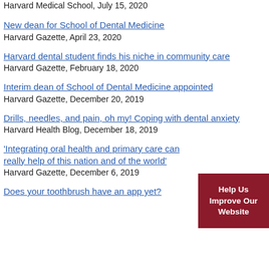Harvard Medical School, July 15, 2020
New dean for School of Dental Medicine
Harvard Gazette, April 23, 2020
Harvard dental student finds his niche in community care
Harvard Gazette, February 18, 2020
Interim dean of School of Dental Medicine appointed
Harvard Gazette, December 20, 2019
Drills, needles, and pain, oh my! Coping with dental anxiety
Harvard Health Blog, December 18, 2019
'Integrating oral health and primary care can really help of this nation and of the world'
Harvard Gazette, December 6, 2019
Does your toothbrush have an app yet?